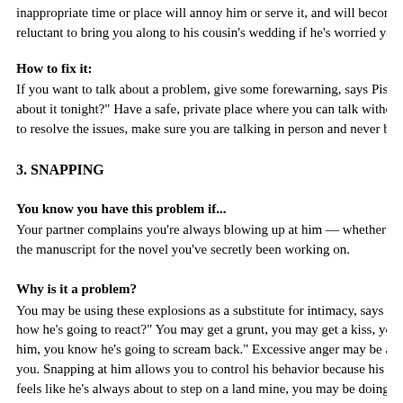inappropriate time or place will annoy him or serve it, and will become a problem. He'll be reluctant to bring you along to his cousin's wedding if he's worried you'll be sh...
How to fix it:
If you want to talk about a problem, give some forewarning, says Pisciotto. "X... about it tonight?" Have a safe, private place where you can talk without feelin... to resolve the issues, make sure you are talking in person and never by text me...
3. SNAPPING
You know you have this problem if...
Your partner complains you're always blowing up at him — whether he forgot... the manuscript for the novel you've secretly been working on.
Why is it a problem?
You may be using these explosions as a substitute for intimacy, says Pisciotto. how he's going to react?" You may get a grunt, you may get a kiss, you may g... him, you know he's going to scream back." Excessive anger may be a sign tha... you. Snapping at him allows you to control his behavior because his response... feels like he's always about to step on a land mine, you may be doing the very...
How to fix it: